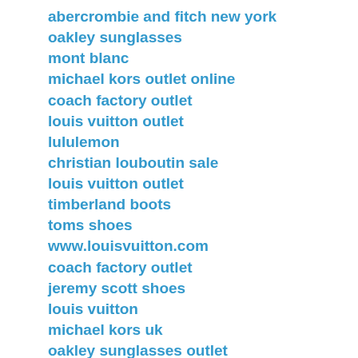abercrombie and fitch new york
oakley sunglasses
mont blanc
michael kors outlet online
coach factory outlet
louis vuitton outlet
lululemon
christian louboutin sale
louis vuitton outlet
timberland boots
toms shoes
www.louisvuitton.com
coach factory outlet
jeremy scott shoes
louis vuitton
michael kors uk
oakley sunglasses outlet
jeremy scott adidas
copy watches
kate spade
michael kors
ray ban sunglasses